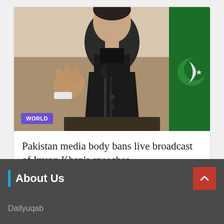[Figure (photo): A man in a dark suit speaking at a podium with microphones, with a green Pakistani flag visible in the background. A purple 'WORLD' badge label is overlaid at the bottom-left of the image.]
Pakistan media body bans live broadcast of Imran Khan's speeches
August 21, 2022 / ..
About Us
Dailyuqab